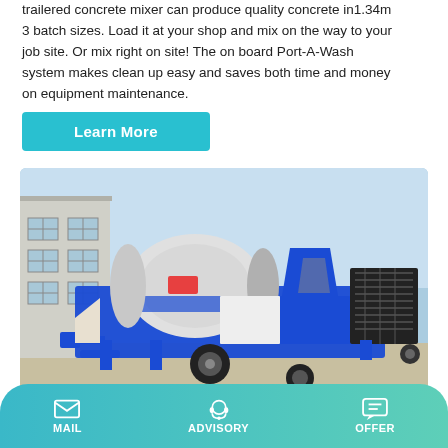trailered concrete mixer can produce quality concrete in1.34m3 batch sizes. Load it at your shop and mix on the way to your job site. Or mix right on site! The on board Port-A-Wash system makes clean up easy and saves both time and money on equipment maintenance.
Learn More
[Figure (photo): A blue and white trailered concrete mixer machine parked outside an industrial building under a clear sky.]
MAIL   ADVISORY   OFFER